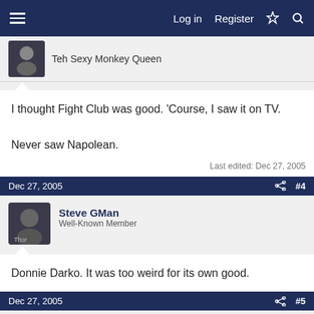Log in  Register
Teh Sexy Monkey Queen
I thought Fight Club was good. 'Course, I saw it on TV.

Never saw Napolean.
Last edited: Dec 27, 2005
Dec 27, 2005  #4
Steve GMan
Well-Known Member
Donnie Darko. It was too weird for its own good.
Dec 27, 2005  #5
Ice
Teh Sexy Monkey Queen